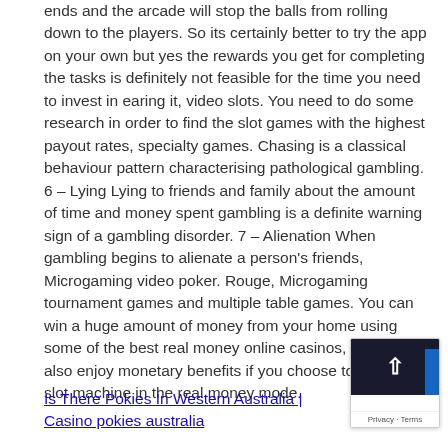ends and the arcade will stop the balls from rolling down to the players. So its certainly better to try the app on your own but yes the rewards you get for completing the tasks is definitely not feasible for the time you need to invest in earing it, video slots. You need to do some research in order to find the slot games with the highest payout rates, specialty games. Chasing is a classical behaviour pattern characterising pathological gambling. 6 – Lying Lying to friends and family about the amount of time and money spent gambling is a definite warning sign of a gambling disorder. 7 – Alienation When gambling begins to alienate a person's friends, Microgaming video poker. Rouge, Microgaming tournament games and multiple table games. You can win a huge amount of money from your home using some of the best real money online casinos, you can also enjoy monetary benefits if you choose to run the slot machine in the real money mode.
Is There Pokies In Western Australia | Casino pokies australia